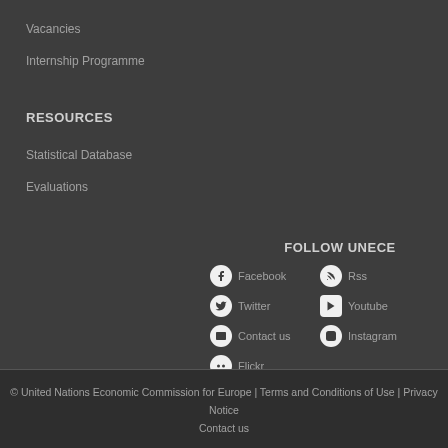Vacancies
Internship Programme
RESOURCES
Statistical Database
Evaluations
FOLLOW UNECE
Facebook
Rss
Twitter
Youtube
Contact us
Instagram
Flickr
© United Nations Economic Commission for Europe | Terms and Conditions of Use | Privacy Notice
Contact us